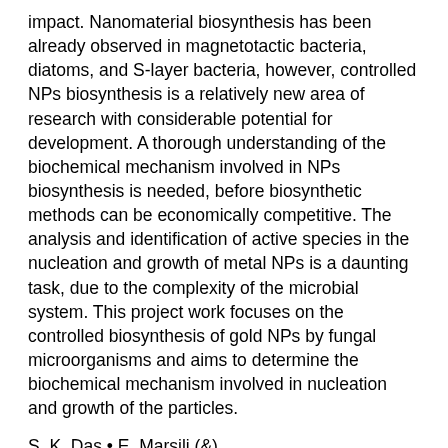impact. Nanomaterial biosynthesis has been already observed in magnetotactic bacteria, diatoms, and S-layer bacteria, however, controlled NPs biosynthesis is a relatively new area of research with considerable potential for development. A thorough understanding of the biochemical mechanism involved in NPs biosynthesis is needed, before biosynthetic methods can be economically competitive. The analysis and identification of active species in the nucleation and growth of metal NPs is a daunting task, due to the complexity of the microbial system. This project work focuses on the controlled biosynthesis of gold NPs by fungal microorganisms and aims to determine the biochemical mechanism involved in nucleation and growth of the particles.
S. K. Das • E. Marsili (&)
School of Biotechnology, Dublin City University, Collins Avenue, Dublin 9, Ireland e-mail: enrico.marsili@dcu.ie
Keywords Nanobiotechnology •
Gold nanoparticles • Microbial synthesis •